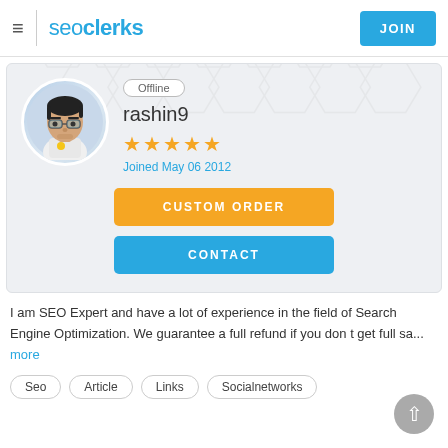seoclerks  JOIN
[Figure (illustration): Profile avatar of user rashin9 - cartoon illustration of a man with glasses and dark hair in a circular frame with blue/grey gradient background]
Offline
rashin9
★★★★★
Joined May 06 2012
CUSTOM ORDER
CONTACT
I am SEO Expert and have a lot of experience in the field of Search Engine Optimization. We guarantee a full refund if you don t get full sa... more
Seo
Article
Links
Socialnetworks